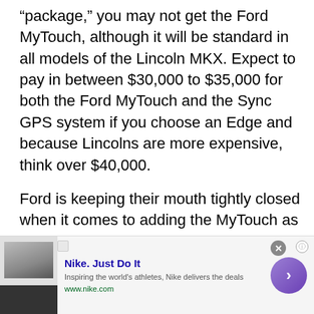“package,” you may not get the Ford MyTouch, although it will be standard in all models of the Lincoln MKX. Expect to pay in between $30,000 to $35,000 for both the Ford MyTouch and the Sync GPS system if you choose an Edge and because Lincolns are more expensive, think over $40,000.
Ford is keeping their mouth tightly closed when it comes to adding the MyTouch as an option. I do expect the MyTouch to come in around $2,000 for the entire unit, maybe
[Figure (other): Advertisement banner for Nike. Just Do It. Shows a thumbnail image of a website screenshot on the left, Nike ad text in the middle, and a purple circular arrow button on the right. Text reads: Nike. Just Do It / Inspiring the world's athletes, Nike delivers the deals / www.nike.com]